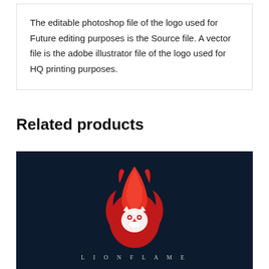The editable photoshop file of the logo used for Future editing purposes is the Source file. A vector file is the adobe illustrator file of the logo used for HQ printing purposes.
Related products
[Figure (logo): LIONFLAME logo — a red and orange flame forming a lion's face with white geometric lion mask, on a dark navy background, with text 'LIONFLAME' in spaced serif letters below]